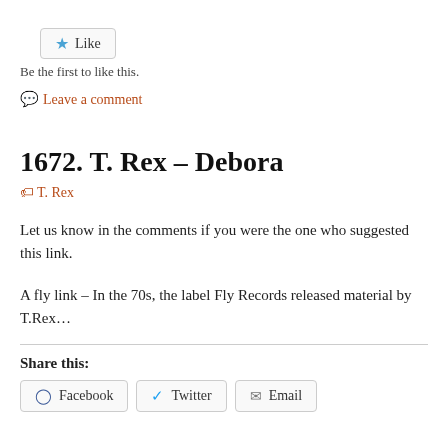[Figure (other): Like button with blue star icon]
Be the first to like this.
💬 Leave a comment
1672. T. Rex – Debora
🏷 T. Rex
Let us know in the comments if you were the one who suggested this link.
A fly link – In the 70s, the label Fly Records released material by T.Rex…
Share this:
[Figure (other): Share buttons: Facebook, Twitter, Email]